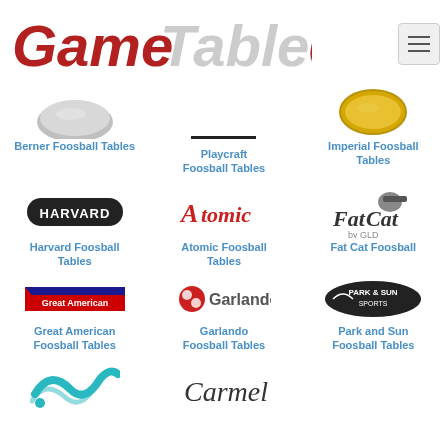[Figure (logo): GameTablesUSA logo with 'Game' in red italic, 'Tables' in gray italic, 'USA' in red/white/blue patriotic colors]
[Figure (logo): Hamburger menu button icon]
[Figure (logo): Berner Foosball Tables brand logo - gray circular table top]
Berner Foosball Tables
[Figure (logo): Playcraft Foosball Tables brand logo - black horizontal line]
Playcraft Foosball Tables
[Figure (logo): Imperial Foosball Tables brand logo - gold circular emblem]
Imperial Foosball Tables
[Figure (logo): Harvard Sports logo - black oval with HARVARD text]
Harvard Foosball Tables
[Figure (logo): Atomic foosball brand logo - red script Atomic text]
Atomic Foosball Tables
[Figure (logo): Fat Cat by GLD logo - cartoon cat with hat]
Fat Cat Foosball
[Figure (logo): Great American foosball brand logo - red/blue banner]
Great American Foosball Tables
[Figure (logo): Garlando foosball brand logo - red circle with Garlando text]
Garlando Foosball Tables
[Figure (logo): Park and Sun Sports logo - black oval with eagle]
Park and Sun Foosball Tables
[Figure (logo): Teal wave/swoosh logo partially visible]
[Figure (logo): Carmelli script logo partially visible]